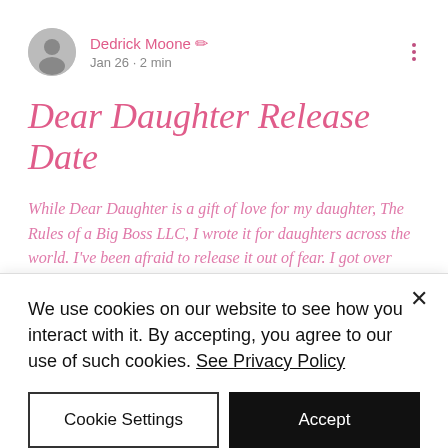Dedrick Moone · Jan 26 · 2 min
Dear Daughter Release Date
While Dear Daughter is a gift of love for my daughter, The Rules of a Big Boss LLC, I wrote it for daughters across the world. I've been afraid to release it out of fear. I got over myself and however and submitted for literary reviews. The first one came back this morning. It made me cry reading it. Please
We use cookies on our website to see how you interact with it. By accepting, you agree to our use of such cookies. See Privacy Policy